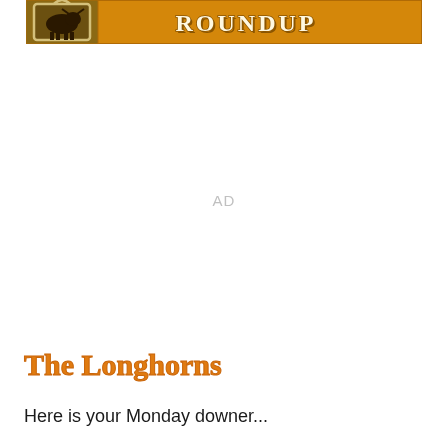[Figure (illustration): Banner/logo for 'Roundup' publication featuring a rope-framed photo of a longhorn cow on an orange background with the word ROUNDUP in large letters]
AD
The Longhorns
Here is your Monday downer...